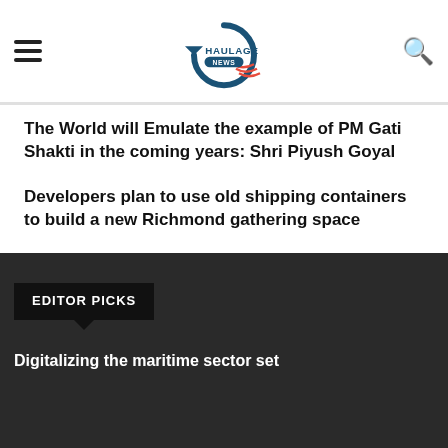Haulage News
The World will Emulate the example of PM Gati Shakti in the coming years: Shri Piyush Goyal
Developers plan to use old shipping containers to build a new Richmond gathering space
EDITOR PICKS
Digitalizing the maritime sector set